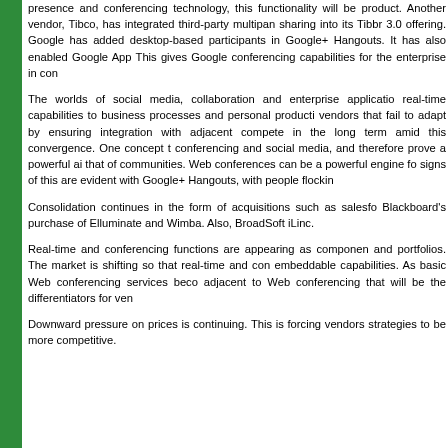presence and conferencing technology, this functionality will be product. Another vendor, Tibco, has integrated third-party multipan sharing into its Tibbr 3.0 offering. Google has added desktop-based participants in Google+ Hangouts. It has also enabled Google App This gives Google conferencing capabilities for the enterprise in con
The worlds of social media, collaboration and enterprise applicatio real-time capabilities to business processes and personal producti vendors that fail to adapt by ensuring integration with adjacent compete in the long term amid this convergence. One concept t conferencing and social media, and therefore prove a powerful ai that of communities. Web conferences can be a powerful engine fo signs of this are evident with Google+ Hangouts, with people flockin
Consolidation continues in the form of acquisitions such as salesfo Blackboard's purchase of Elluminate and Wimba. Also, BroadSoft iLinc.
Real-time and conferencing functions are appearing as componen and portfolios. The market is shifting so that real-time and con embeddable capabilities. As basic Web conferencing services beco adjacent to Web conferencing that will be the differentiators for ven
Downward pressure on prices is continuing. This is forcing vendors strategies to be more competitive.